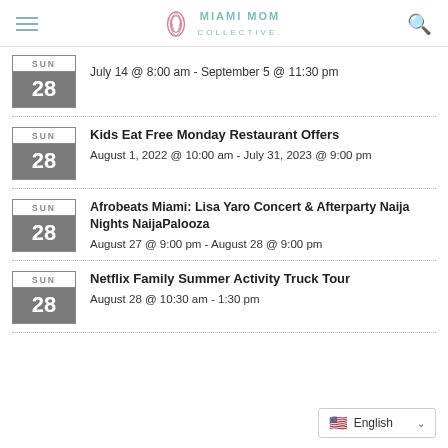Miami Mom Collective
SUN 28 — July 14 @ 8:00 am - September 5 @ 11:30 pm
Kids Eat Free Monday Restaurant Offers — August 1, 2022 @ 10:00 am - July 31, 2023 @ 9:00 pm
Afrobeats Miami: Lisa Yaro Concert & Afterparty Naija Nights NaijaPalooza — August 27 @ 9:00 pm - August 28 @ 9:00 pm
Netflix Family Summer Activity Truck Tour — August 28 @ 10:30 am - 1:30 pm